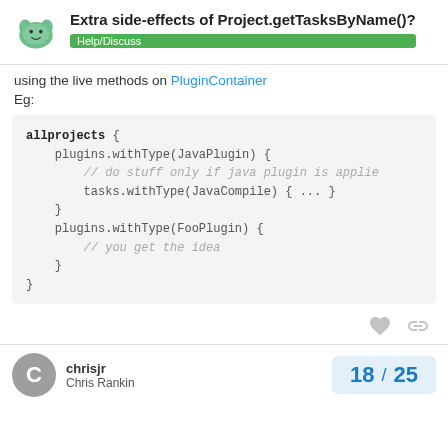Extra side-effects of Project.getTasksByName()?
Help/Discuss
using the live methods on PluginContainer
Eg:
[Figure (screenshot): Code block showing allprojects { plugins.withType(JavaPlugin) { // do stuff only if java plugin is applied tasks.withType(JavaCompile) { ... } } plugins.withType(FooPlugin) { // you get the idea } }]
chrisjr
Chris Rankin
18 / 25